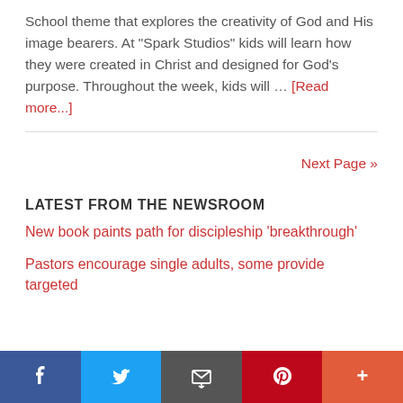School theme that explores the creativity of God and His image bearers. At "Spark Studios" kids will learn how they were created in Christ and designed for God's purpose. Throughout the week, kids will … [Read more...]
Next Page »
LATEST FROM THE NEWSROOM
New book paints path for discipleship 'breakthrough'
Pastors encourage single adults, some provide targeted